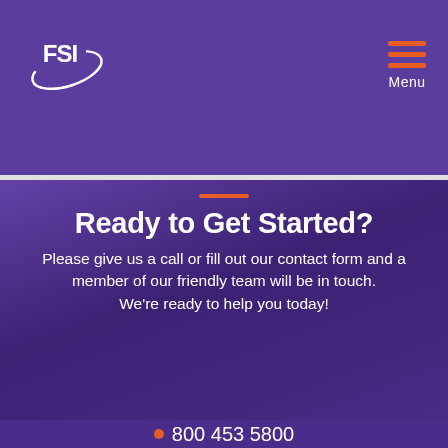FSI | Menu
Ready to Get Started?
Please give us a call or fill out our contact form and a member of our friendly team will be in touch. We're ready to help you today!
800 453 5800